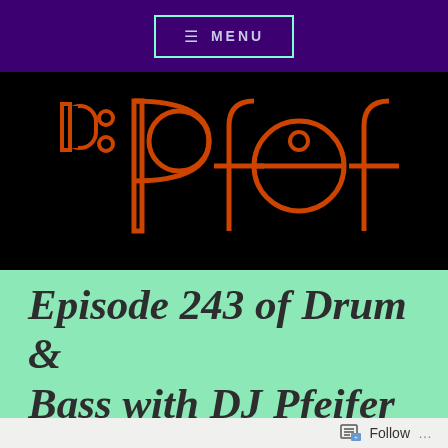≡ MENU
[Figure (logo): DJ Pfef logo in orange outlined retro lettering on black background]
Episode 243 of Drum & Bass with DJ Pfeifer
Follow ...